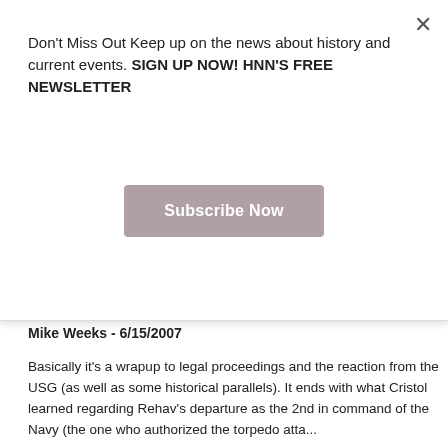Don't Miss Out Keep up on the news about history and current events. SIGN UP NOW! HNN'S FREE NEWSLETTER
[Figure (other): Subscribe Now button (dark mauve/pink-gray color)]
easily possible to determine which. The commander chose the wrong possibility. He may have been influenced by the likelihood that questioning the accuracy of the report of shelling might get him called a "chairborne commando" over the telephone. The commander certainly did not want Moshe Dayan, the man with the eyepatch, to get the idea that he was "wishy-washy."
Mike Weeks - 6/15/2007
Basically it's a wrapup to legal proceedings and the reaction from the USG (as well as some historical parallels). It ends with what Cristol learned regarding Rehav's departure as the 2nd in command of the Navy (the one who authorized the torpedo attack...